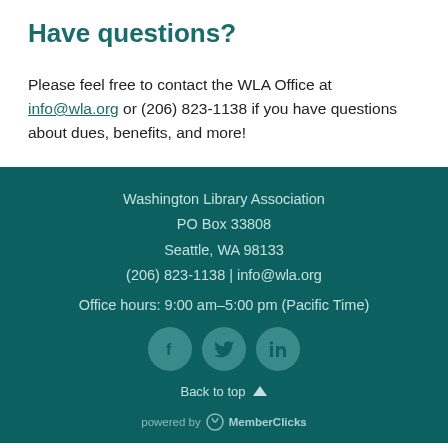Have questions?
Please feel free to contact the WLA Office at info@wla.org or (206) 823-1138 if you have questions about dues, benefits, and more!
Washington Library Association
PO Box 33808
Seattle, WA 98133
(206) 823-1138 | info@wla.org

Office hours: 9:00 am–5:00 pm (Pacific Time)

Back to top

powered by MemberClicks